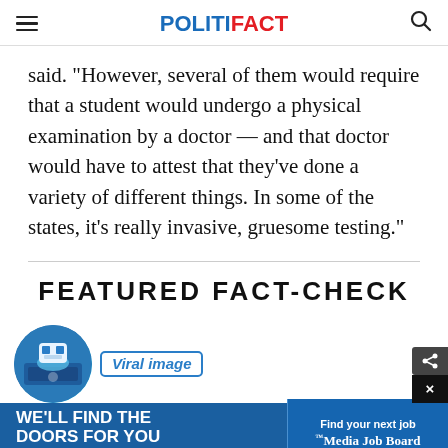POLITIFACT
said. "However, several of them would require that a student would undergo a physical examination by a doctor — and that doctor would have to attest that they've done a variety of different things. In some of the states, it's really invasive, gruesome testing."
FEATURED FACT-CHECK
[Figure (illustration): Circular illustration icon for PolitiFact featured fact-check section, blue toned graphic]
Viral image
[Figure (infographic): Advertisement banner: WE'LL FIND THE DOORS FOR YOU - You decide which one to open, with Media Job Board ad on the right]